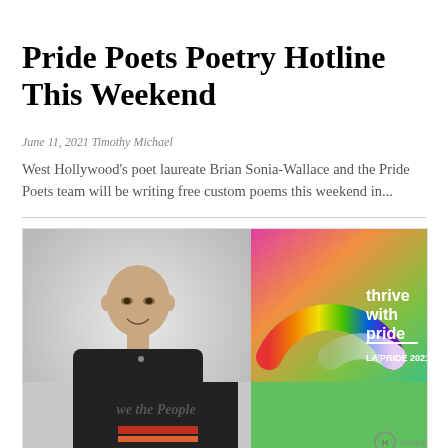Pride Poets Poetry Hotline This Weekend
June 11, 2021 Timothy Michael
West Hollywood's poet laureate Brian Sonia-Wallace and the Pride Poets team will be writing free custom poems this weekend in...
[Figure (photo): A person wearing a black 'We The People' t-shirt on the left, and an LA Pride 2021 'thrive with pride' promotional banner on the right with a rainbow arch graphic on a colorful gradient background.]